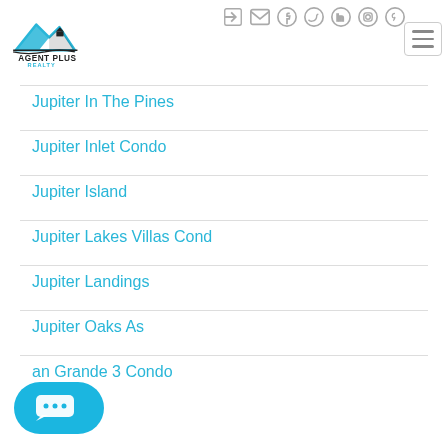[Figure (logo): Agent Plus Realty logo with mountain/house icon and text]
Jupiter In The Pines
Jupiter Inlet Condo
Jupiter Island
Jupiter Lakes Villas Cond
Jupiter Landings
Jupiter Oaks As
an Grande 3 Condo